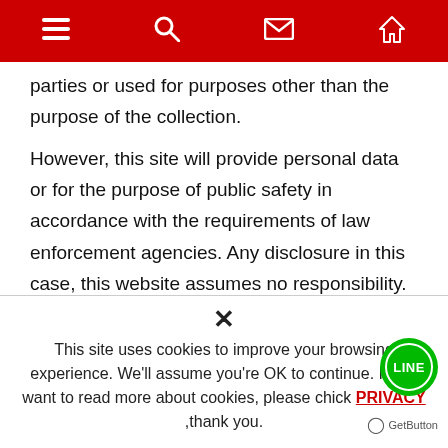[hamburger menu] [search] [mail] [home]
parties or used for purposes other than the purpose of the collection.
However, this site will provide personal data or for the purpose of public safety in accordance with the requirements of law enforcement agencies. Any disclosure in this case, this website assumes no responsibility.
Related Links external website
The web site provides links to other web sites, you can also link to this website is provided by, tap into other sites.However, this does not apply to the linked site's privacy policy website you must refer to the link site privacy policy.
This site uses cookies to improve your browsing experience. We'll assume you're OK to continue. If you want to read more about cookies, please chick PRIVACY ,thank you.
In order to provide you with the best service, the Site may